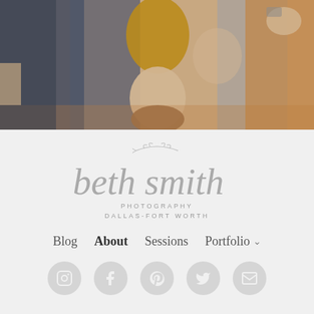[Figure (photo): Family photo showing children and adults laughing and playing together outdoors, lying on autumn leaves]
[Figure (logo): Beth Smith Photography logo with decorative leaf/branch script lettering, subtitled PHOTOGRAPHY DALLAS-FORT WORTH]
Blog  About  Sessions  Portfolio
[Figure (infographic): Row of 5 social media icon circles: Instagram, Facebook, Pinterest, Twitter, Email]